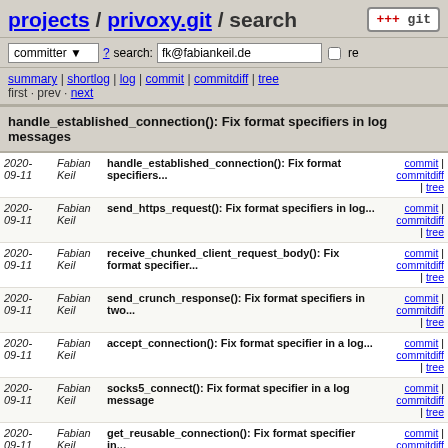projects / privoxy.git / search
committer ? search: fk@fabiankeil.de re
summary | shortlog | log | commit | commitdiff | tree
first · prev · next
handle_established_connection(): Fix format specifiers in log messages
| date | author | message | links |
| --- | --- | --- | --- |
| 2020-09-11 | Fabian Keil | handle_established_connection(): Fix format specifiers... | commit | commitdiff | tree |
| 2020-09-11 | Fabian Keil | send_https_request(): Fix format specifiers in log... | commit | commitdiff | tree |
| 2020-09-11 | Fabian Keil | receive_chunked_client_request_body(): Fix format specifier... | commit | commitdiff | tree |
| 2020-09-11 | Fabian Keil | send_crunch_response(): Fix format specifiers in two... | commit | commitdiff | tree |
| 2020-09-11 | Fabian Keil | accept_connection(): Fix format specifier in a log... | commit | commitdiff | tree |
| 2020-09-11 | Fabian Keil | socks5_connect(): Fix format specifier in a log message | commit | commitdiff | tree |
| 2020-09-11 | Fabian Keil | get_reusable_connection(): Fix format specifier in... | commit | commitdiff | tree |
| 2020-09-11 | Fabian Keil | close_unusable_connections(): Fix format specifier... | commit | commitdiff | tree |